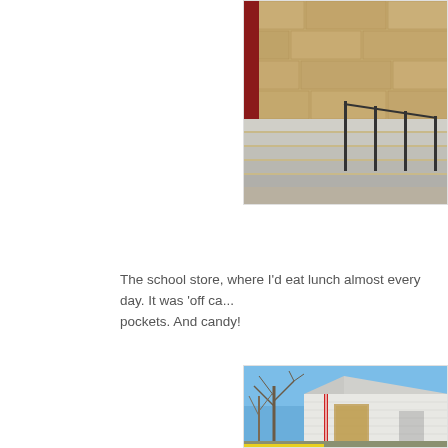[Figure (photo): Stone building with concrete steps and black metal railing, exterior view, partial crop showing upper portion of steps and stone wall facade.]
The school store, where I'd eat lunch almost every day. It was 'off ca... pockets. And candy!
[Figure (photo): Small white clapboard building that appears to be a former school store or small shop, with a red and white striped pole, bare winter trees in background, clear blue sky, yellow painted curb in foreground.]